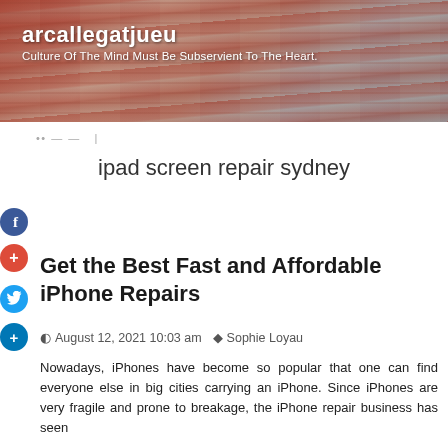[Figure (photo): Blog header banner with person painting/drawing, artistic supplies visible. Text overlay shows site name and tagline.]
arcallegatjueu
Culture Of The Mind Must Be Subservient To The Heart.
... — |
ipad screen repair sydney
Get the Best Fast and Affordable iPhone Repairs
August 12, 2021 10:03 am  Sophie Loyau
Nowadays, iPhones have become so popular that one can find everyone else in big cities carrying an iPhone. Since iPhones are very fragile and prone to breakage, the iPhone repair business has seen